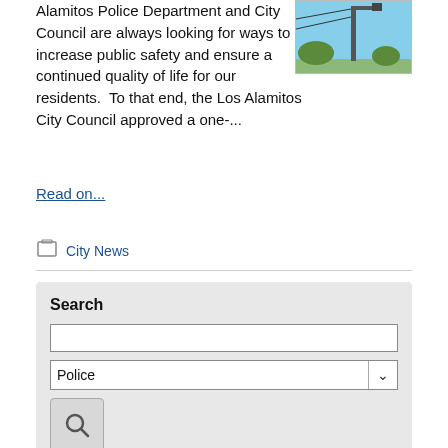Alamitos Police Department and City Council are always looking for ways to increase public safety and ensure a continued quality of life for our residents.  To that end, the Los Alamitos City Council approved a one-...
[Figure (photo): Photo of a street lamp or pole against a blue sky with some foliage in background]
Read on...
City News
Search
Police
Tools
RSS
Notify Me®